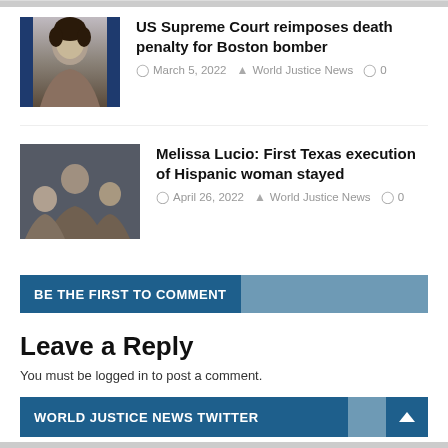[Figure (photo): Mugshot-style photo of a young man with curly dark hair, flanked by dark blue vertical stripes on left and right]
US Supreme Court reimposes death penalty for Boston bomber
March 5, 2022   World Justice News   0
[Figure (photo): Group photo showing a woman with several people, dark indoor setting]
Melissa Lucio: First Texas execution of Hispanic woman stayed
April 26, 2022   World Justice News   0
BE THE FIRST TO COMMENT
Leave a Reply
You must be logged in to post a comment.
WORLD JUSTICE NEWS TWITTER